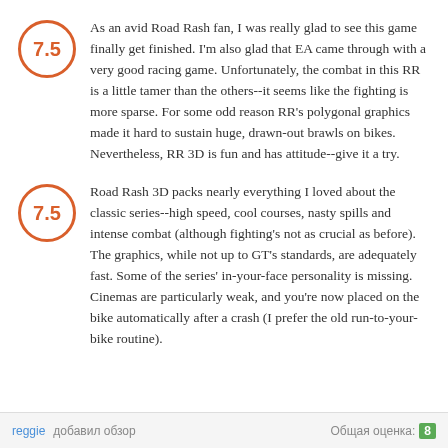As an avid Road Rash fan, I was really glad to see this game finally get finished. I'm also glad that EA came through with a very good racing game. Unfortunately, the combat in this RR is a little tamer than the others--it seems like the fighting is more sparse. For some odd reason RR's polygonal graphics made it hard to sustain huge, drawn-out brawls on bikes. Nevertheless, RR 3D is fun and has attitude--give it a try.
Road Rash 3D packs nearly everything I loved about the classic series--high speed, cool courses, nasty spills and intense combat (although fighting's not as crucial as before). The graphics, while not up to GT's standards, are adequately fast. Some of the series' in-your-face personality is missing. Cinemas are particularly weak, and you're now placed on the bike automatically after a crash (I prefer the old run-to-your-bike routine).
reggie добавил обзор Общая оценка: 8